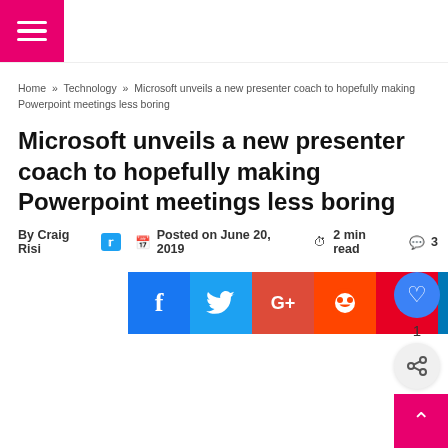Home » Technology » Microsoft unveils a new presenter coach to hopefully making Powerpoint meetings less boring
Microsoft unveils a new presenter coach to hopefully making Powerpoint meetings less boring
By Craig Risi   Posted on June 20, 2019   2 min read   3
[Figure (screenshot): Social media share buttons: Facebook, Twitter, Google+, Reddit, Pinterest, LinkedIn, Tumblr, WhatsApp, Telegram]
[Figure (infographic): Like button (heart icon, count: 1) and share button circles on the right side]